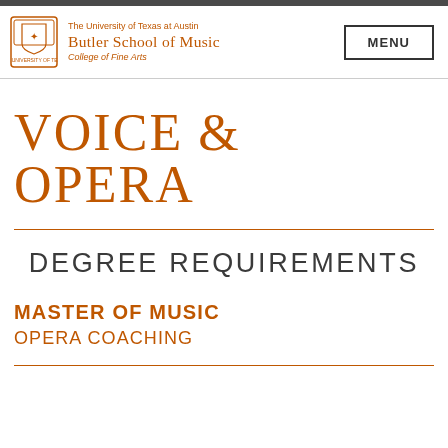The University of Texas at Austin Butler School of Music College of Fine Arts
VOICE & OPERA
DEGREE REQUIREMENTS
MASTER OF MUSIC
OPERA COACHING